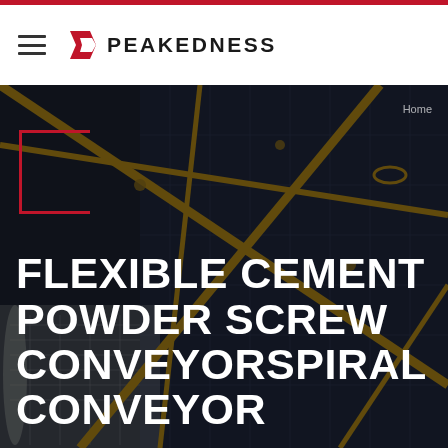PEAKEDNESS
[Figure (photo): Industrial construction scaffolding and structural steel framework photo used as hero background image with dark overlay]
FLEXIBLE CEMENT POWDER SCREW CONVEYORSPIRAL CONVEYOR